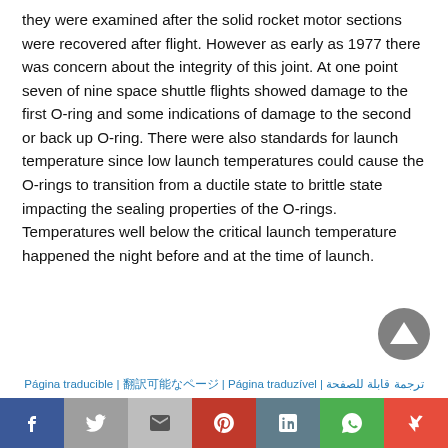they were examined after the solid rocket motor sections were recovered after flight. However as early as 1977 there was concern about the integrity of this joint. At one point seven of nine space shuttle flights showed damage to the first O-ring and some indications of damage to the second or back up O-ring. There were also standards for launch temperature since low launch temperatures could cause the O-rings to transition from a ductile state to brittle state impacting the sealing properties of the O-rings. Temperatures well below the critical launch temperature happened the night before and at the time of launch.
Página traducible | 翻訳可能なページ | Página traduzível | ترجمة قابلة للصفحة